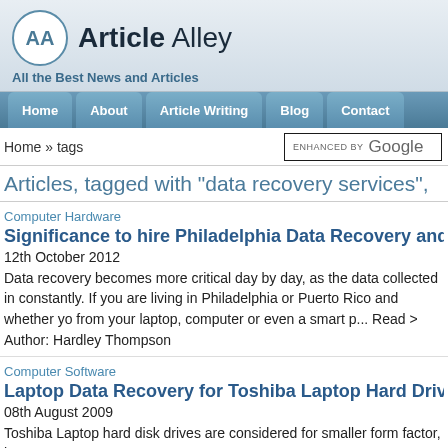Article Alley — All the Best News and Articles
Home | About | Article Writing | Blog | Contact
Home » tags
Articles, tagged with "data recovery services",
Computer Hardware
Significance to hire Philadelphia Data Recovery and Puerto
12th October 2012
Data recovery becomes more critical day by day, as the data collected in constantly. If you are living in Philadelphia or Puerto Rico and whether yo from your laptop, computer or even a smart p... Read >
Author: Hardley Thompson
Computer Software
Laptop Data Recovery for Toshiba Laptop Hard Drive
08th August 2009
Toshiba Laptop hard disk drives are considered for smaller form factor, h